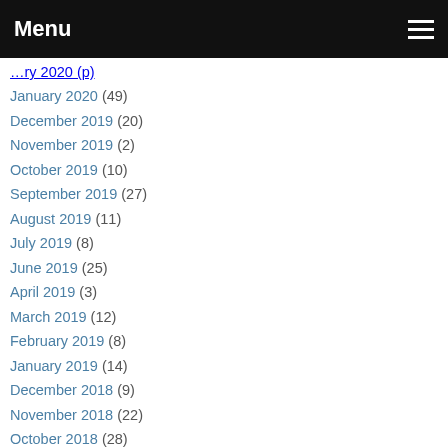Menu
January 2020 (49)
December 2019 (20)
November 2019 (2)
October 2019 (10)
September 2019 (27)
August 2019 (11)
July 2019 (8)
June 2019 (25)
April 2019 (3)
March 2019 (12)
February 2019 (8)
January 2019 (14)
December 2018 (9)
November 2018 (22)
October 2018 (28)
September 2018 (17)
February 2018 (2)
January 2018 (3)